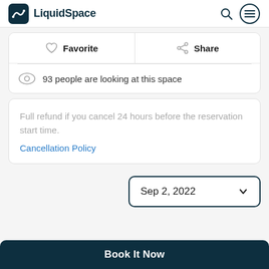LiquidSpace
Favorite   Share
93 people are looking at this space
Full refund if you cancel 24 hours before the reservation start time.
Cancellation Policy
Sep 2, 2022
Book It Now